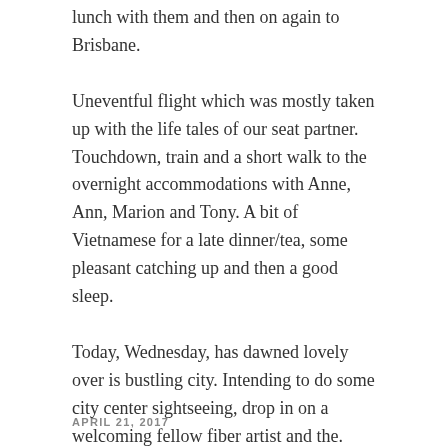lunch with them and then on again to Brisbane.
Uneventful flight which was mostly taken up with the life tales of our seat partner. Touchdown, train and a short walk to the overnight accommodations with Anne, Ann, Marion and Tony. A bit of Vietnamese for a late dinner/tea, some pleasant catching up and then a good sleep.
Today, Wednesday, has dawned lovely over is bustling city. Intending to do some city center sightseeing, drop in on a welcoming fellow fiber artist and the. Arrive at the camp where the National Basketry Gathering is happening the rest of the week.
If you don't hear from me till next week it will be due to
APRIL 21, 2017